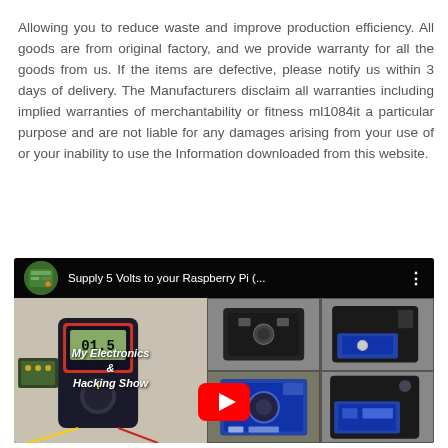Allowing you to reduce waste and improve production efficiency. All goods are from original factory, and we provide warranty for all the goods from us. If the items are defective, please notify us within 3 days of delivery. The Manufacturers disclaim all warranties including implied warranties of merchantability or fitness ml1084it a particular purpose and are not liable for any damages arising from your use of or your inability to use the Information downloaded from this website.
[Figure (screenshot): YouTube video thumbnail showing 'Supply 5 Volts to your Raspberry Pi (...' with channel icon, video title bar, and collage of electronics images including a multimeter, voltage regulator modules, and small electronic boards. A YouTube play button is visible at the bottom center.]